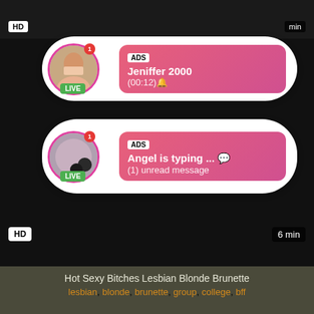[Figure (screenshot): Video player with HD badge and time overlay showing dark background. Two notification popup cards overlay the top portion: Card 1 shows a female avatar with LIVE badge, ADS tag, 'Jeniffer 2000' and '(00:12)' message. Card 2 shows another avatar with LIVE badge, ADS tag, 'Angel is typing ... 💬' and '(1) unread message'. Bottom bar shows HD badge and '6 min' duration.]
Hot Sexy Bitches Lesbian Blonde Brunette
lesbian, blonde, brunette, group, college, bff